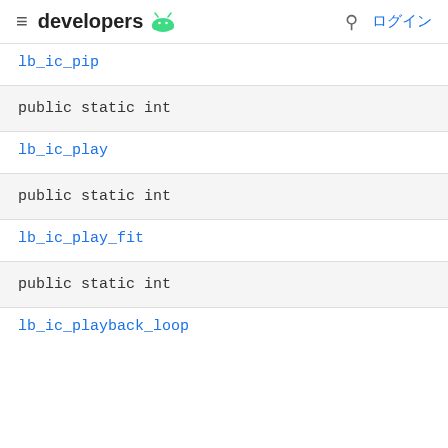developers  ログイン
lb_ic_pip
public static int
lb_ic_play
public static int
lb_ic_play_fit
public static int
lb_ic_playback_loop